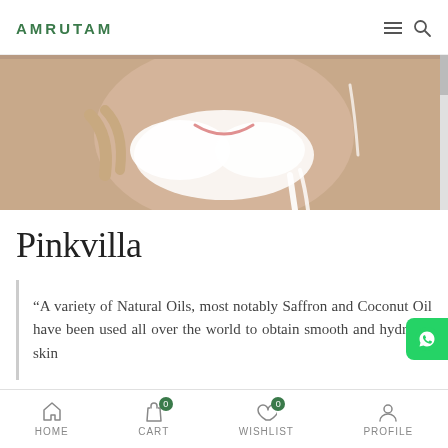AMRUTAM
[Figure (photo): Close-up photo of a smiling person applying white cream/face wash on their face, with water or cream dripping down]
Pinkvilla
“A variety of Natural Oils, most notably Saffron and Coconut Oil have been used all over the world to obtain smooth and hydrated skin
HOME   CART 0   WISHLIST 0   PROFILE